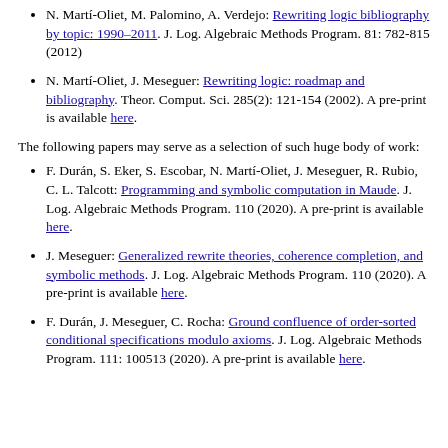N. Martí-Oliet, M. Palomino, A. Verdejo: Rewriting logic bibliography by topic: 1990–2011. J. Log. Algebraic Methods Program. 81: 782-815 (2012)
N. Martí-Oliet, J. Meseguer: Rewriting logic: roadmap and bibliography. Theor. Comput. Sci. 285(2): 121-154 (2002). A pre-print is available here.
The following papers may serve as a selection of such huge body of work:
F. Durán, S. Eker, S. Escobar, N. Martí-Oliet, J. Meseguer, R. Rubio, C. L. Talcott: Programming and symbolic computation in Maude. J. Log. Algebraic Methods Program. 110 (2020). A pre-print is available here.
J. Meseguer: Generalized rewrite theories, coherence completion, and symbolic methods. J. Log. Algebraic Methods Program. 110 (2020). A pre-print is available here.
F. Durán, J. Meseguer, C. Rocha: Ground confluence of order-sorted conditional specifications modulo axioms. J. Log. Algebraic Methods Program. 111: 100513 (2020). A pre-print is available here.